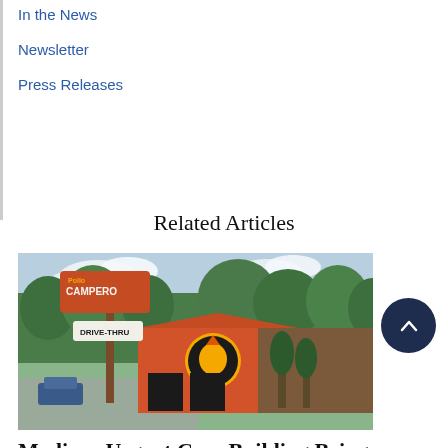In the News
Newsletter
Press Releases
Related Articles
[Figure (photo): Exterior photo of a Pollo Campero fast food restaurant with a drive-thru sign, orange facade with logo, surrounded by trees]
Madison Urgent Care Building Being Converted into Pollo Campero...